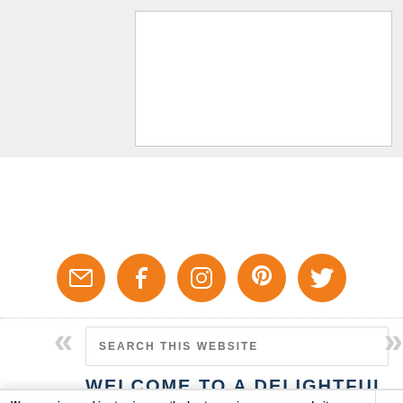[Figure (screenshot): Top gray image area with white inner box, representing a website header image placeholder]
[Figure (infographic): Row of 5 orange circular social media icons: email/envelope, Facebook, Instagram, Pinterest, Twitter]
[Figure (screenshot): Search bar with text SEARCH THIS WEBSITE and chevron arrows on each side]
WELCOME TO A DELIGHTFUL
We are using cookies to give you the best experience on our website.
You can find out more about which cookies we are using or switch them off in settings.
[Figure (screenshot): Ad banner showing Hold and Move game advertisement with score +20 and player icons on dark background, with help and close buttons]